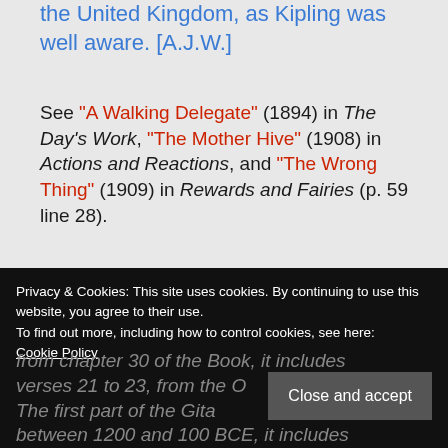the United Kingdom, as Kipling was well aware. [A.J.W.]
See "A Walking Delegate" (1894) in The Day's Work, "The Mother Hive" (1908) in Actions and Reactions, and "The Wrong Thing" (1909) in Rewards and Fairies (p. 59 line 28).
See also An Amerivcan
Notes on the Text
Privacy & Cookies: This site uses cookies. By continuing to use this website, you agree to their use. To find out more, including how to control cookies, see here: Cookie Policy
from chapter 30 of the Book... verses 21 to 23, from the O... The first part of the Gita... between 1200 and 100 BCE, it includes